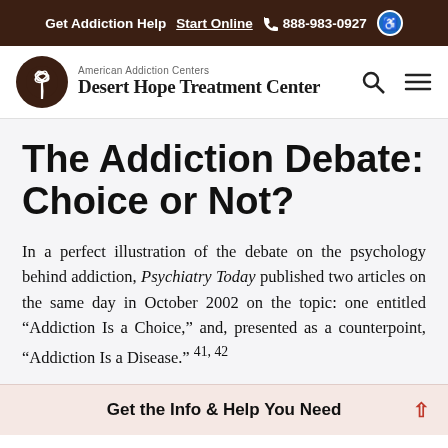Get Addiction Help  Start Online  888-983-0927
[Figure (logo): American Addiction Centers Desert Hope Treatment Center logo with palm tree icon in brown circle]
The Addiction Debate: Choice or Not?
In a perfect illustration of the debate on the psychology behind addiction, Psychiatry Today published two articles on the same day in October 2002 on the topic: one entitled “Addiction Is a Choice,” and, presented as a counterpoint, “Addiction Is a Disease.” 41, 42
Get the Info & Help You Need